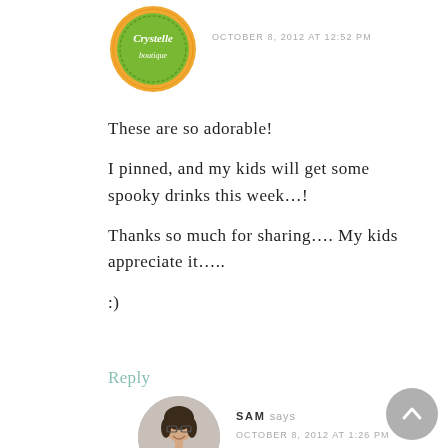[Figure (logo): Crystelle Boutique circular green and orange logo]
OCTOBER 8, 2012 AT 12:52 PM
These are so adorable!

I pinned, and my kids will get some spooky drinks this week...!

Thanks so much for sharing.... My kids appreciate it.....

:)
Reply
[Figure (photo): Circular avatar photo of Sam, a woman with dark hair and glasses, smiling]
SAM says
OCTOBER 8, 2012 AT 1:26 PM